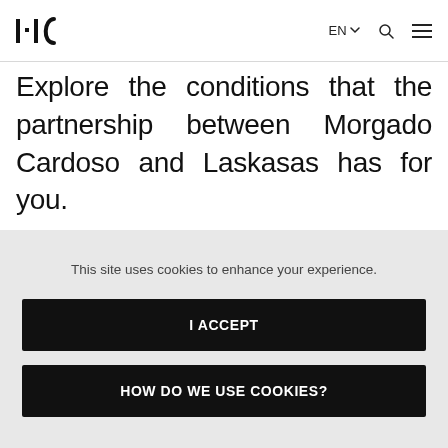MIC | EN | search | menu
Explore the conditions that the partnership between Morgado Cardoso and Laskasas has for you.
This site uses cookies to enhance your experience.
I ACCEPT
HOW DO WE USE COOKIES?